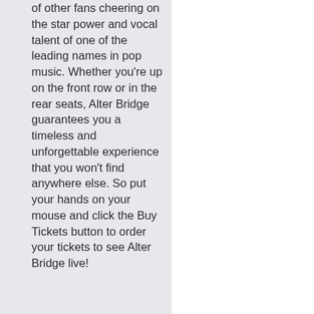of other fans cheering on the star power and vocal talent of one of the leading names in pop music. Whether you're up on the front row or in the rear seats, Alter Bridge guarantees you a timeless and unforgettable experience that you won't find anywhere else. So put your hands on your mouse and click the Buy Tickets button to order your tickets to see Alter Bridge live!